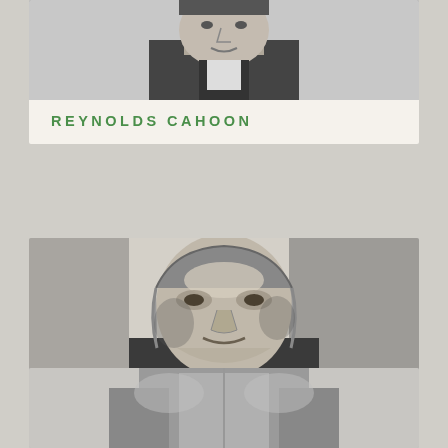[Figure (photo): Black and white portrait photograph of Reynolds Cahoon, partially cropped at top of page]
REYNOLDS CAHOON
[Figure (photo): Black and white portrait illustration/engraving of Samuel Harrison Smith, showing face and upper body]
SAMUEL HARRISON SMITH
[Figure (photo): Partial view of a third person's portrait, cut off at bottom of page, showing torso/chest area in grey tones]